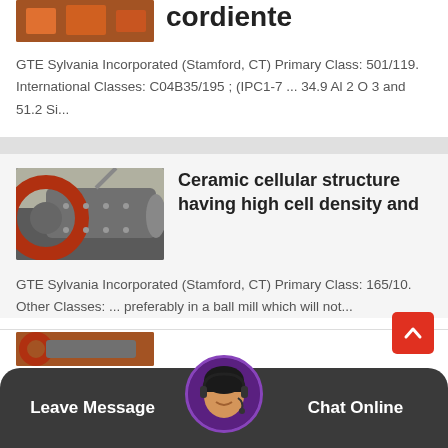[Figure (photo): Partial top image of industrial/orange machinery on pallets]
cordiente
GTE Sylvania Incorporated (Stamford, CT) Primary Class: 501/119. International Classes: C04B35/195 ; (IPC1-7 ... 34.9 Al 2 O 3 and 51.2 Si...
[Figure (photo): Industrial ball mill machinery with large red gear rings]
Ceramic cellular structure having high cell density and
GTE Sylvania Incorporated (Stamford, CT) Primary Class: 165/10. Other Classes: ... preferably in a ball mill which will not...
[Figure (photo): Partial bottom strip showing another industrial machinery thumbnail]
Leave Message  Chat Online